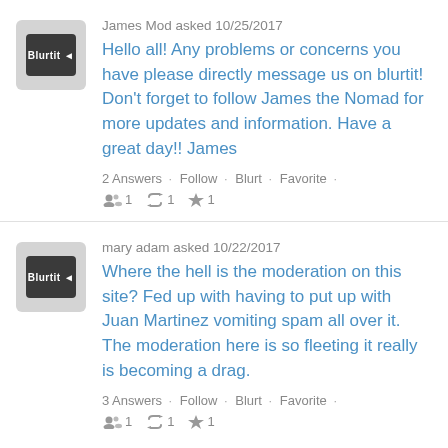James Mod asked 10/25/2017
Hello all! Any problems or concerns you have please directly message us on blurtit! Don't forget to follow James the Nomad for more updates and information. Have a great day!! James
2 Answers · Follow · Blurt · Favorite · 👥1  🔁1  ⭐1
mary adam asked 10/22/2017
Where the hell is the moderation on this site? Fed up with having to put up with Juan Martinez vomiting spam all over it. The moderation here is so fleeting it really is becoming a drag.
3 Answers · Follow · Blurt · Favorite · 👥1  🔁1  ⭐1